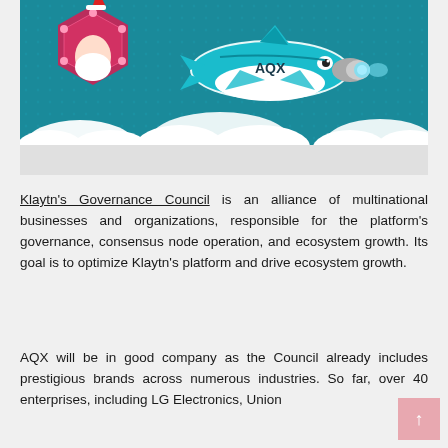[Figure (illustration): Illustration of a teal/dark-background scene showing an orca-shark hybrid airplane with 'AQX' text flying through clouds, with a red geometric heart shape in upper left corner. Clouds appear at bottom of the image.]
Klaytn's Governance Council is an alliance of multinational businesses and organizations, responsible for the platform's governance, consensus node operation, and ecosystem growth. Its goal is to optimize Klaytn's platform and drive ecosystem growth.
AQX will be in good company as the Council already includes prestigious brands across numerous industries. So far, over 40 enterprises, including LG Electronics, Union